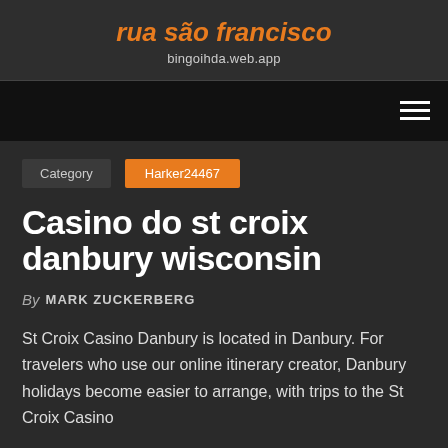rua são francisco
bingoihda.web.app
Category  Harker24467
Casino do st croix danbury wisconsin
By MARK ZUCKERBERG
St Croix Casino Danbury is located in Danbury. For travelers who use our online itinerary creator, Danbury holidays become easier to arrange, with trips to the St Croix Casino